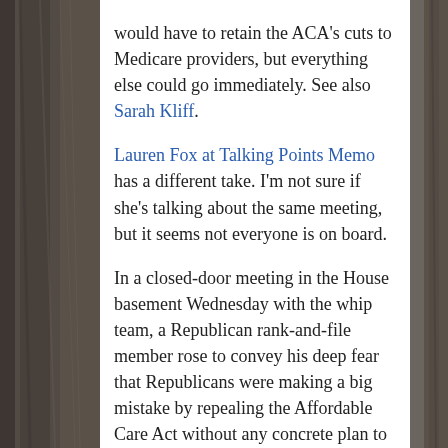would have to retain the ACA's cuts to Medicare providers, but everything else could go immediately. See also Sarah Kliff.
Lauren Fox at Talking Points Memo has a different take. I'm not sure if she's talking about the same meeting, but it seems not everyone is on board.
In a closed-door meeting in the House basement Wednesday with the whip team, a Republican rank-and-file member rose to convey his deep fear that Republicans were making a big mistake by repealing the Affordable Care Act without any concrete plan to replace it with.
According to one source in the room, the